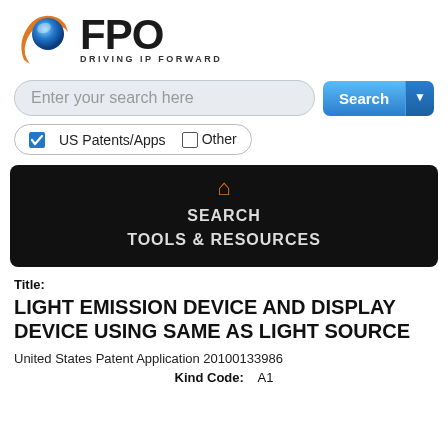[Figure (logo): FPO - Driving IP Forward logo with blue/orange swirl icon and bold FPO text]
[Figure (screenshot): Search bar with placeholder 'Enter your search here' and blue Search button with dropdown arrow]
[Figure (screenshot): Checkbox row: checked 'US Patents/Apps' and unchecked 'Other' inside rounded border]
[Figure (screenshot): Dark navigation bar with orange home icon, SEARCH link, and TOOLS & RESOURCES link]
Title:
LIGHT EMISSION DEVICE AND DISPLAY DEVICE USING SAME AS LIGHT SOURCE
United States Patent Application 20100133986
Kind Code:   A1